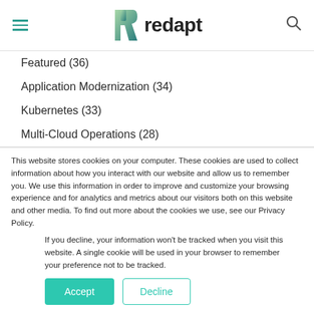redapt
Featured (36)
Application Modernization (34)
Kubernetes (33)
Multi-Cloud Operations (28)
This website stores cookies on your computer. These cookies are used to collect information about how you interact with our website and allow us to remember you. We use this information in order to improve and customize your browsing experience and for analytics and metrics about our visitors both on this website and other media. To find out more about the cookies we use, see our Privacy Policy.
If you decline, your information won't be tracked when you visit this website. A single cookie will be used in your browser to remember your preference not to be tracked.